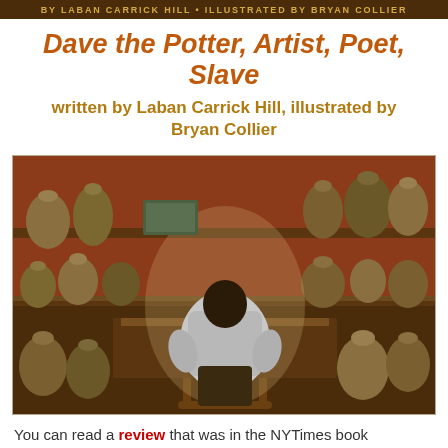by Laban Carrick Hill • illustrated by Bryan Collier
Dave the Potter, Artist, Poet, Slave
written by Laban Carrick Hill, illustrated by Bryan Collier
[Figure (illustration): Illustration from the book showing a man seated at a workbench from behind, surrounded by shelves filled with clay pottery jugs and vessels in an earthy, warm-toned setting.]
You can read a review that was in the NYTimes book